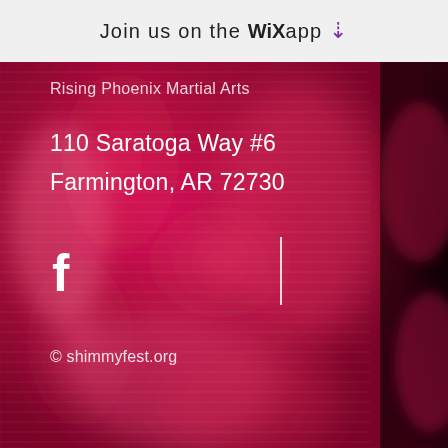Join us on the WiX app ⬇
[Figure (photo): Blurred magenta/crimson background with abstract bokeh shapes suggesting flowing fabric or motion, with a dark strip on the right side]
Rising Phoenix Martial Arts
110 Saratoga Way #6
Farmington, AR 72730
[Figure (logo): Facebook 'f' logo in white, followed by a vertical white divider line]
© shimmyfest.org